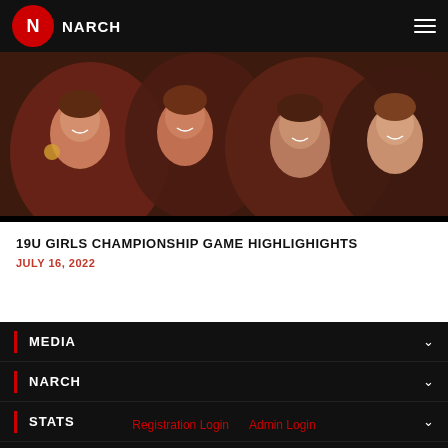NARCH
[Figure (photo): Group of smiling young women at a hockey championship event, some wearing medals, warm indoor lighting with red tones.]
19U GIRLS CHAMPIONSHIP GAME HIGHLIGHIGHTS
JULY 16, 2022
MEDIA
NARCH
STATS
PLAYERS
Registration Login   Admin Login